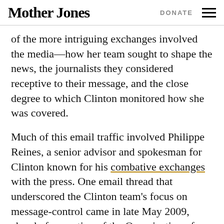Mother Jones | DONATE
of the more intriguing exchanges involved the media—how her team sought to shape the news, the journalists they considered receptive to their message, and the close degree to which Clinton monitored how she was covered.
Much of this email traffic involved Philippe Reines, a senior advisor and spokesman for Clinton known for his combative exchanges with the press. One email thread that underscored the Clinton team's focus on message-control came in late May 2009, ahead of a meeting of the Organization of American States. Its member-nations span North and South America and were poised to vote on whether to revoke Cuba's decades-long suspension from OAS